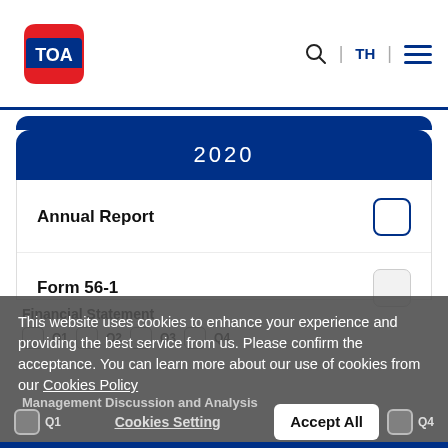TOA | TH
2020
Annual Report
Form 56-1
Financial Statement
This website uses cookies to enhance your experience and providing the best service from us. Please confirm the acceptance. You can learn more about our use of cookies from our Cookies Policy
Management Discussion and Analysis
Cookies Setting
Accept All